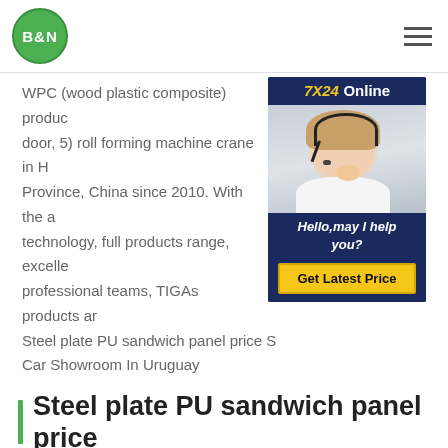[Figure (logo): B&N green circular logo]
WPC (wood plastic composite) products... door, 5) roll forming machine crane in ... Province, China since 2010. With the a... technology, full products range, excelle... professional teams, TIGAs products ar... Steel plate PU sandwich panel price S... Car Showroom In Uruguay
[Figure (infographic): 7X24 Online chat support box with customer service representative wearing headset, Hello,may I help you? text, and Get Latest Price button]
Steel plate PU sandwich panel price
pu sandwich panel pu sandwich panel machine pu sandwich panel line pu foam sandwich panel Steel plate PU sandwich panel pricepu sandwich panel pu